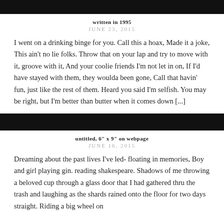written in 1995
JUNE 23, 2015
I went on a drinking binge for you. Call this a hoax, Made it a joke, This ain't no lie folks. Throw that on your lap and try to move with it, groove with it, And your coolie friends I'm not let in on, If I'd have stayed with them, they woulda been gone, Call that havin' fun, just like the rest of them. Heard you said I'm selfish. You may be right, but I'm better than butter when it comes down [...]
untitled, 6" x 9" on webpage
JUNE 16, 2015
Dreaming about the past lives I've led- floating in memories, Boy and girl playing gin. reading shakespeare. Shadows of me throwing a beloved cup through a glass door that I had gathered thru the trash and laughing as the shards rained onto the floor for two days straight. Riding a big wheel on